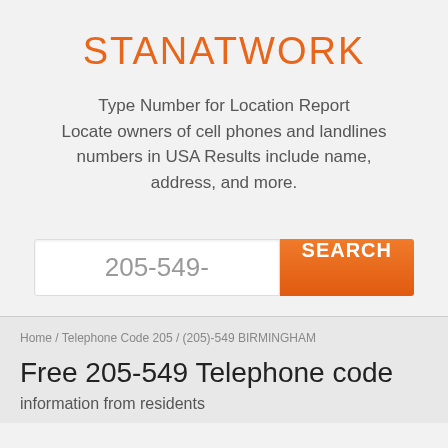STANATWORK
Type Number for Location Report Locate owners of cell phones and landlines numbers in USA Results include name, address, and more.
205-549-
SEARCH
Home / Telephone Code 205 / (205)-549 BIRMINGHAM
Free 205-549 Telephone code